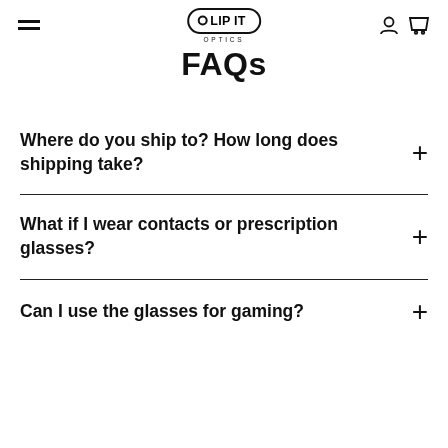CLIP IT OPTICS
FAQs
Where do you ship to? How long does shipping take?
What if I wear contacts or prescription glasses?
Can I use the glasses for gaming?